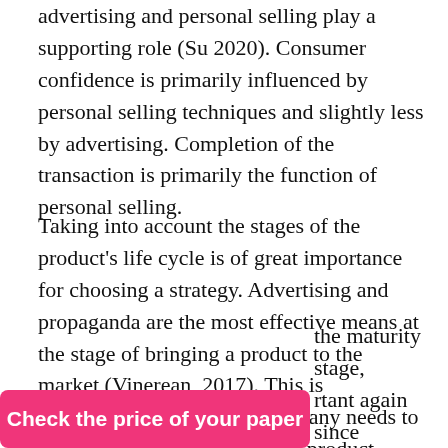advertising and personal selling play a supporting role (Su 2020). Consumer confidence is primarily influenced by personal selling techniques and slightly less by advertising. Completion of the transaction is primarily the function of personal selling.
Taking into account the stages of the product's life cycle is of great importance for choosing a strategy. Advertising and propaganda are the most effective means at the stage of bringing a product to the market (Vinerean, 2017). This is understandable since the company needs to show the advantages of a new product firstso that an intrigued buyer starts asking for it in retail. During the growth phase, advertising and propaganda continue to serve as powerful engines while [the maturity stage, [r]tant again since
Check the price of your paper